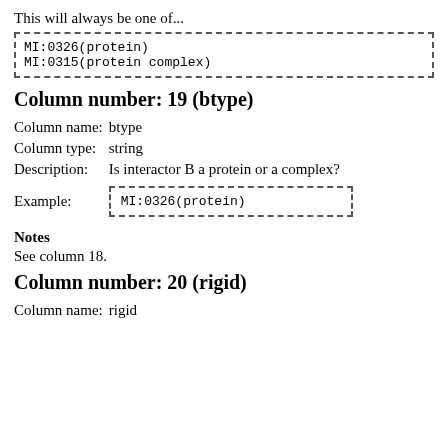This will always be one of...
[Figure (other): Dashed border code box showing: MI:0326(protein) MI:0315(protein complex)]
Column number: 19 (btype)
| Column name: | btype |
| Column type: | string |
| Description: | Is interactor B a protein or a complex? |
| Example: | MI:0326(protein) |
Notes
See column 18.
Column number: 20 (rigid)
| Column name: | rigid |